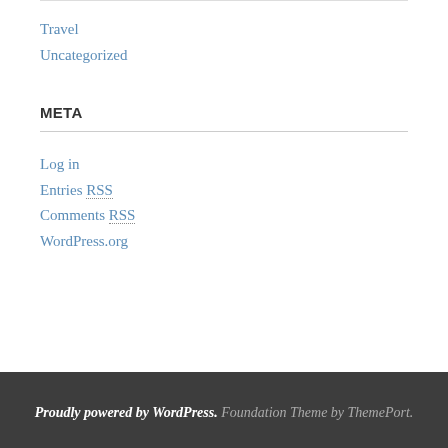Travel
Uncategorized
META
Log in
Entries RSS
Comments RSS
WordPress.org
Proudly powered by WordPress. Foundation Theme by ThemePort.